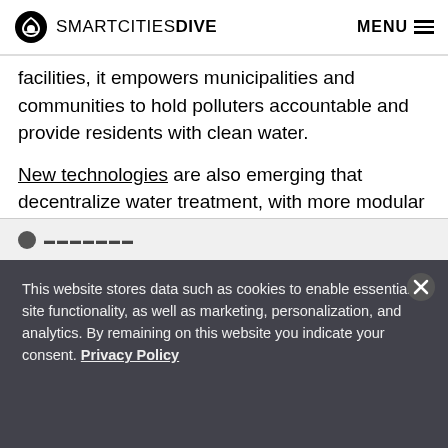SMARTCITIES DIVE   MENU
facilities, it empowers municipalities and communities to hold polluters accountable and provide residents with clean water.
New technologies are also emerging that decentralize water treatment, with more modular solutions quickly becoming scalable and more cost-effective than traditional centralized infrastructure.
This website stores data such as cookies to enable essential site functionality, as well as marketing, personalization, and analytics. By remaining on this website you indicate your consent. Privacy Policy